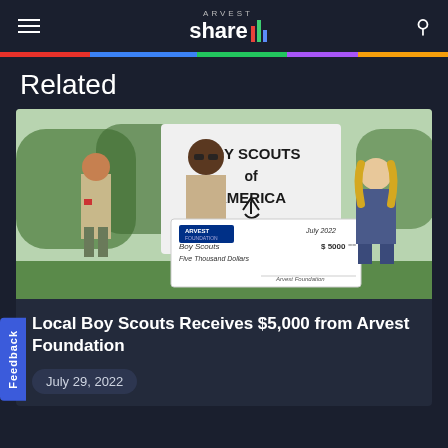Arvest Share
Related
[Figure (photo): Three people standing in front of a Boy Scouts of America sign. A boy and an adult man in Boy Scout uniforms holding a large check from Arvest Foundation made out to Boy Scouts for $5,000 (Five Thousand Dollars), dated July 2022. A woman in a blue dress stands to the right.]
Local Boy Scouts Receives $5,000 from Arvest Foundation
July 29, 2022